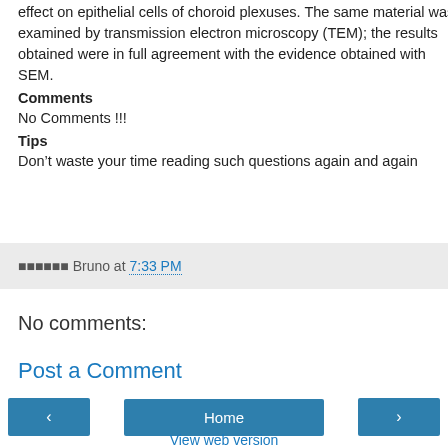effect on epithelial cells of choroid plexuses. The same material was examined by transmission electron microscopy (TEM); the results obtained were in full agreement with the evidence obtained with SEM.
Comments
No Comments !!!
Tips
Don’t waste your time reading such questions again and again
■■■■■■ Bruno at 7:33 PM
No comments:
Post a Comment
Home
View web version